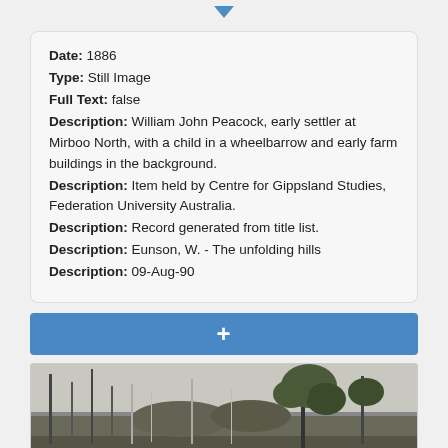▼
Date: 1886
Type: Still Image
Full Text: false
Description: William John Peacock, early settler at Mirboo North, with a child in a wheelbarrow and early farm buildings in the background.
Description: Item held by Centre for Gippsland Studies, Federation University Australia.
Description: Record generated from title list.
Description: Eunson, W. - The unfolding hills
Description: 09-Aug-90
+
[Figure (photo): Black and white photograph showing trees and bush landscape, possibly eucalyptus trees in an Australian rural setting.]